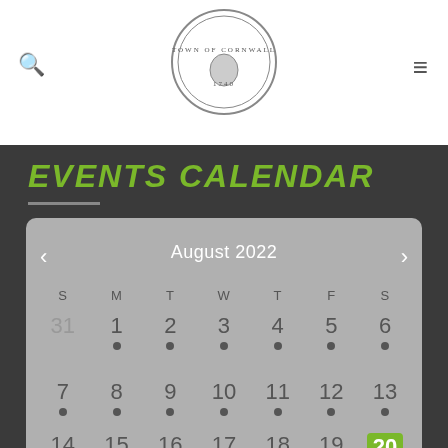Snowmaking Has Begun...
Covid-19 Update
[Figure (logo): Town of Cornwall CT 1740 circular seal logo]
EVENTS CALENDAR
| S | M | T | W | T | F | S |
| --- | --- | --- | --- | --- | --- | --- |
| 31 | 1 | 2 | 3 | 4 | 5 | 6 |
| 7 | 8 | 9 | 10 | 11 | 12 | 13 |
| 14 | 15 | 16 | 17 | 18 | 19 | 20 |